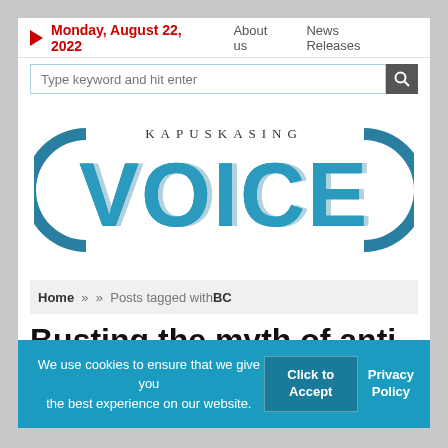Monday, August 22, 2022   About us   News Releases
Type keyword and hit enter
[Figure (logo): Kapuskasing Voice logo — teal/blue semicircle speaker icons flanking bold teal 'VOICE' text with 'KAPUSKASING' in spaced small caps above]
Home » » Posts tagged withBC
Busting the myth of anti-
We use cookies to ensure that we give you the best experience on our website.
Click to Accept
Privacy Policy